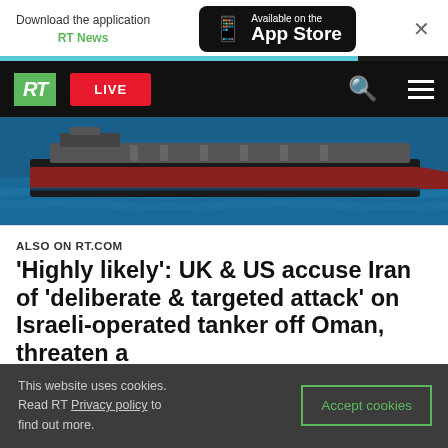Download the application RT News — Available on the App Store
[Figure (screenshot): RT website navigation bar with green RT logo, red LIVE button, search icon, and hamburger menu on black background]
[Figure (photo): Large oil tanker ship on blue sea water, photographed from above at an angle, showing red hull]
ALSO ON RT.COM
'Highly likely': UK & US accuse Iran of 'deliberate & targeted attack' on Israeli-operated tanker off Oman, threaten a
This website uses cookies. Read RT Privacy policy to find out more.
Accept cookies